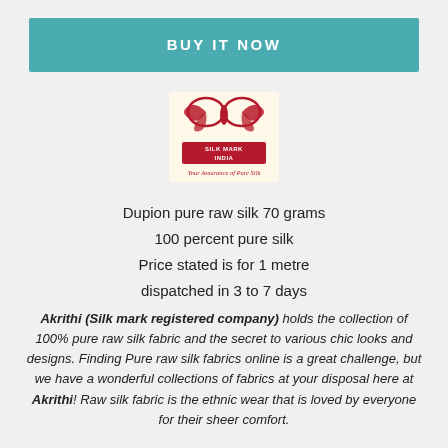BUY IT NOW
[Figure (logo): Silk Mark India logo — butterfly motif in red/crimson with text 'SILK MARK INDIA' and tagline 'Your Assurance of Pure Silk']
Dupion pure raw silk 70 grams
100 percent pure silk
Price stated is for 1 metre
dispatched in 3 to 7 days
Akrithi (Silk mark registered company) holds the collection of 100% pure raw silk fabric and the secret to various chic looks and designs. Finding Pure raw silk fabrics online is a great challenge, but we have a wonderful collections of fabrics at your disposal here at Akrithi! Raw silk fabric is the ethnic wear that is loved by everyone for their sheer comfort.